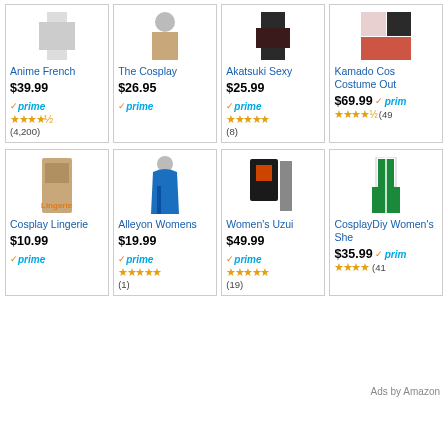[Figure (screenshot): Amazon product listing grid showing 8 cosplay/costume products in two rows of 4, with product images, titles, prices, Prime badges, star ratings, and review counts. Bottom right shows 'Ads by Amazon' label.]